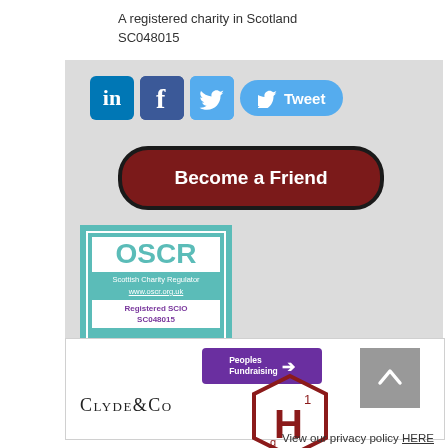A registered charity in Scotland SC048015
[Figure (logo): Social media icons: LinkedIn, Facebook, Twitter, and a Tweet button]
[Figure (infographic): Become a Friend button - dark red rounded rectangle with white bold text]
[Figure (logo): OSCR Scottish Charity Regulator badge - teal background with white border, showing OSCR logo, www.oscr.org.uk, Registered SCIO SC048015]
[Figure (logo): Peoples Fundraising logo - purple rectangle with white text and arrow]
[Figure (logo): Back to top button - grey square with up arrow]
[Figure (logo): Clyde & Co law firm logo in small-caps serif font]
[Figure (logo): Hydrogen H hexagon chemistry logo in dark red outline]
View our privacy policy HERE